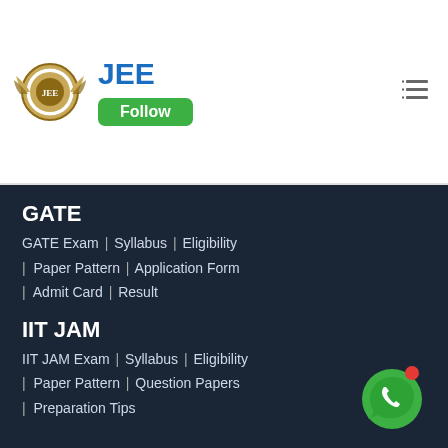[Figure (logo): JEE circular logo with wings emblem]
JEE
Follow
GATE
GATE Exam | Syllabus | Eligibility | Paper Pattern | Application Form | Admit Card | Result
IIT JAM
IIT JAM Exam | Syllabus | Eligibility | Paper Pattern | Question Papers | Preparation Tips
UGC NET
UGC NET Exam | Syllabus | Eligibility